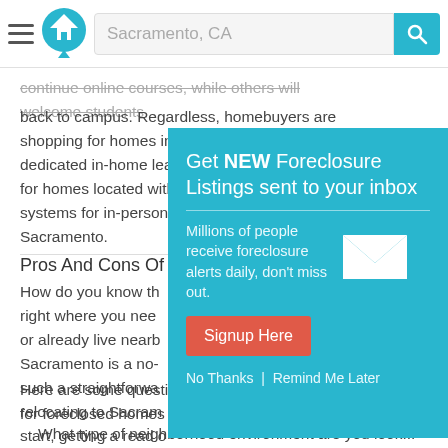Sacramento, CA
continue online courses, while others will welcome students back to campus. Regardless, homebuyers are shopping for homes in Sacramento with dedicated in-home learning spaces, as well as for homes located within the best school systems for in-person instruction in Sacramento.
Pros And Cons Of ...
How do you know th... right where you nee... or already live nearb... Sacramento is a no-... such a straightforwa... relocating to Sacram... start, getting a read o... tricky... and exhaustin...
[Figure (screenshot): Popup modal with teal background: 'Get NEW Foreclosure Listings sent to your inbox'. Subtext: 'Millions of people receive foreclosure alerts daily, don't miss out.' Red 'Signup Here' button, envelope icon, 'No Thanks | Remind Me Later' links.]
Here are some questions to ask yourself when shopping for foreclosed homes for sale in Sacramento:
What type of neighborhood environment are you look...